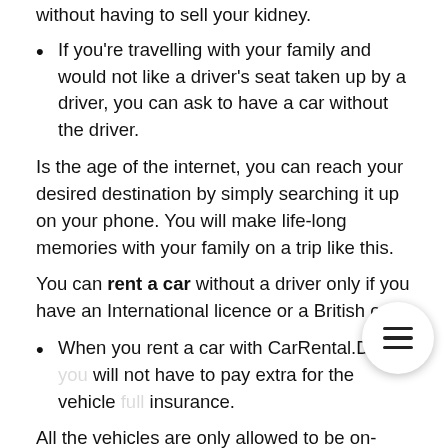without having to sell your kidney.
If you're travelling with your family and would not like a driver's seat taken up by a driver, you can ask to have a car without the driver.
Is the age of the internet, you can reach your desired destination by simply searching it up on your phone. You will make life-long memories with your family on a trip like this.
You can rent a car without a driver only if you have an International licence or a British one.
When you rent a car with CarRental.Deal, you will not have to pay extra for the vehicle insurance.
All the vehicles are only allowed to be on-road if